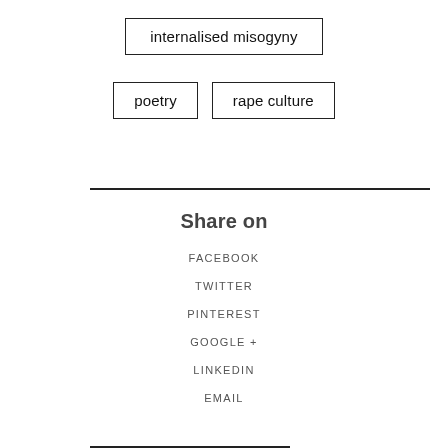internalised misogyny
poetry
rape culture
Share on
FACEBOOK
TWITTER
PINTEREST
GOOGLE +
LINKEDIN
EMAIL